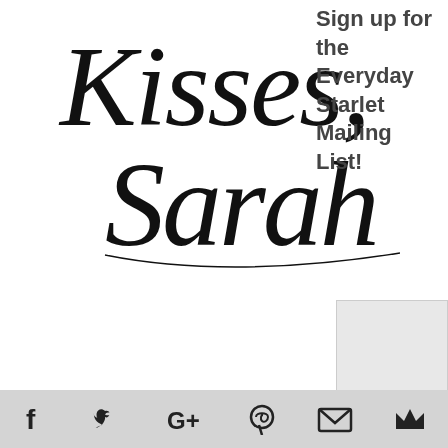[Figure (illustration): Cursive script logo reading 'Kisses, Sarah' in decorative handwriting style]
Sign up for the Everyday Starlet Mailing List!
Email Address
[Figure (screenshot): Empty email address input text box]
[Figure (screenshot): Empty subscribe/submit button box, partially visible]
Social media icon bar: Facebook, Twitter, Google+, Pinterest, Email, Crown/Bloglovin